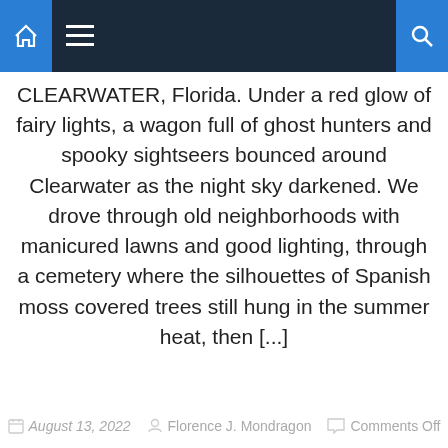Navigation bar with home, menu, and search icons
CLEARWATER, Florida. Under a red glow of fairy lights, a wagon full of ghost hunters and spooky sightseers bounced around Clearwater as the night sky darkened. We drove through old neighborhoods with manicured lawns and good lighting, through a cemetery where the silhouettes of Spanish moss covered trees still hung in the summer heat, then [...]
August 13, 2022  Florence J. Mondragon  Comments Off
[Figure (photo): A thatched beach umbrella/palapa hut viewed from below against a light sky, with a small bird visible at the bottom]